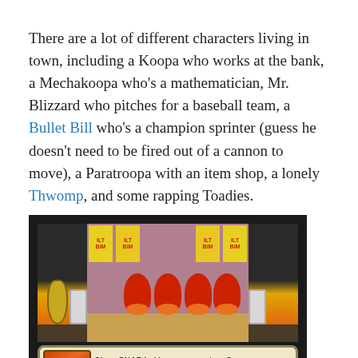There are a lot of different characters living in town, including a Koopa who works at the bank, a Mechakoopa who's a mathematician, Mr. Blizzard who pitches for a baseball team, a Bullet Bill who's a champion sprinter (guess he doesn't need to be fired out of a cannon to move), a Paratroopa with an item shop, a lonely Thwomp, and some rapping Toadies.
[Figure (screenshot): Game screenshot showing rapping Toadies on a stage with curtains, banners, guitar, and speakers. Dialog box at bottom reads: 'Oh, SNAP! You rap, too? You're 2 hot 2 B true!']
Toad inhabitants are the police detective Shroomlock from